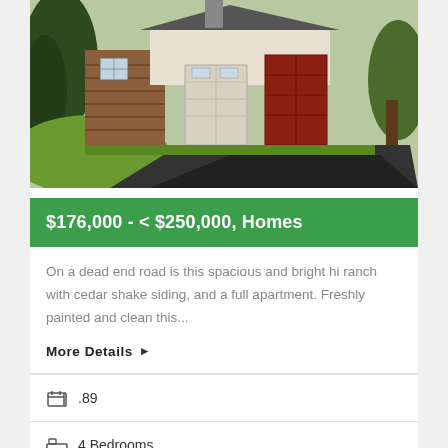[Figure (photo): Exterior photo of a hi ranch house with cedar shake siding, large white garage door, and paved driveway surrounded by trees]
$176,000 - < $250,000, Homes
On a dead end road is this spacious and bright hi ranch with cedar shake siding, and a full apartment. Freshly painted and clean this...
More Details ▶
.89
4 Bedrooms